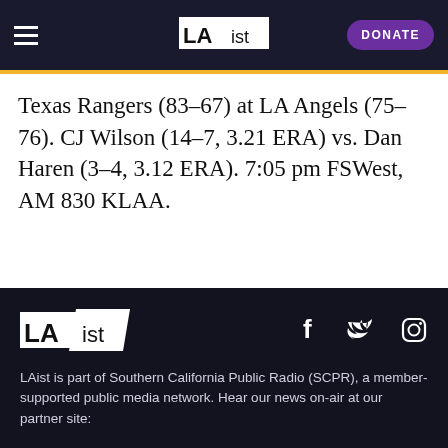LAist — DONATE
Texas Rangers (83-67) at LA Angels (75-76). CJ Wilson (14-7, 3.21 ERA) vs. Dan Haren (3-4, 3.12 ERA). 7:05 pm FSWest, AM 830 KLAA.
[Figure (logo): LAist logo in footer with social media icons (Facebook, Twitter, Instagram)]
LAist is part of Southern California Public Radio (SCPR), a member-supported public media network. Hear our news on-air at our partner site: